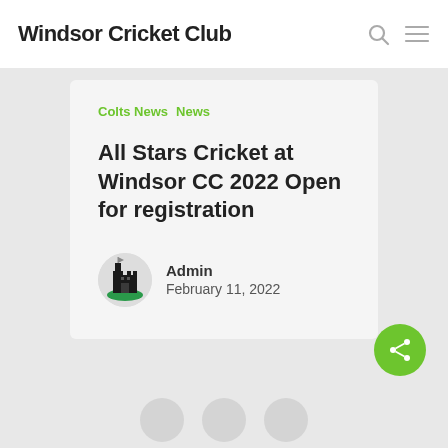Windsor Cricket Club
Colts News  News
All Stars Cricket at Windsor CC 2022 Open for registration
Admin
February 11, 2022
[Figure (other): Green circular share button with share network icon]